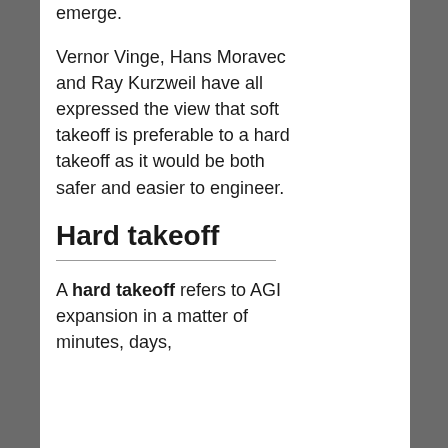emerge.
Vernor Vinge, Hans Moravec and Ray Kurzweil have all expressed the view that soft takeoff is preferable to a hard takeoff as it would be both safer and easier to engineer.
Hard takeoff
A hard takeoff refers to AGI expansion in a matter of minutes, days,